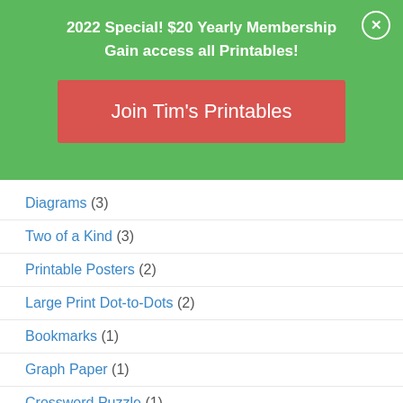2022 Special! $20 Yearly Membership
Gain access all Printables!
Join Tim's Printables
Diagrams (3)
Two of a Kind (3)
Printable Posters (2)
Large Print Dot-to-Dots (2)
Bookmarks (1)
Graph Paper (1)
Crossword Puzzle (1)
Short Stories (1)